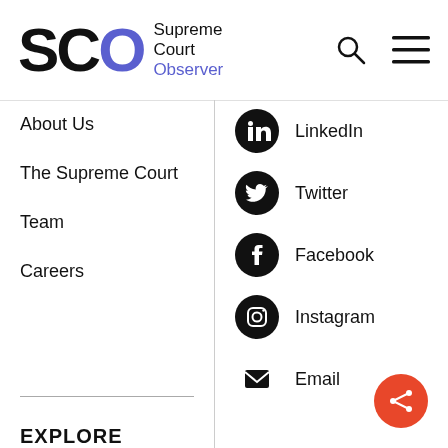[Figure (logo): SCO Supreme Court Observer logo with blue O and search/menu icons in header]
About Us
The Supreme Court
Team
Careers
LinkedIn
Twitter
Facebook
Instagram
Email
EXPLORE
Cases
Judges